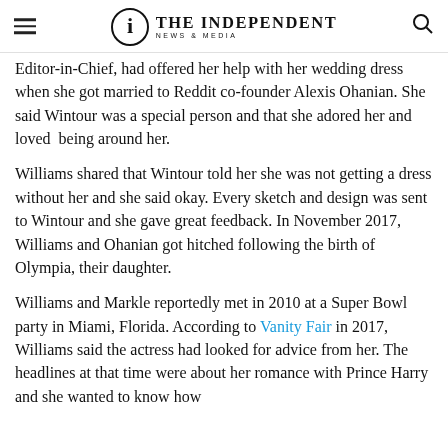THE INDEPENDENT NEWS & MEDIA
Editor-in-Chief, had offered her help with her wedding dress when she got married to Reddit co-founder Alexis Ohanian. She said Wintour was a special person and that she adored her and loved  being around her.
Williams shared that Wintour told her she was not getting a dress without her and she said okay. Every sketch and design was sent to Wintour and she gave great feedback. In November 2017, Williams and Ohanian got hitched following the birth of Olympia, their daughter.
Williams and Markle reportedly met in 2010 at a Super Bowl party in Miami, Florida. According to Vanity Fair in 2017, Williams said the actress had looked for advice from her. The headlines at that time were about her romance with Prince Harry and she wanted to know how